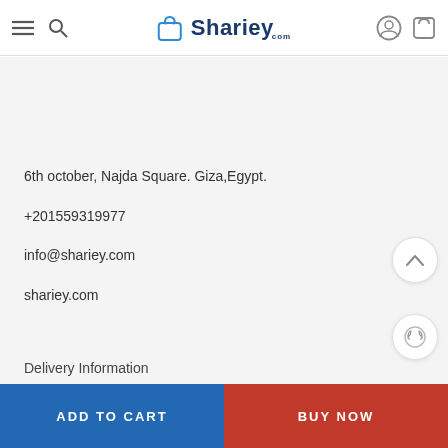Shariey.com
6th october, Najda Square. Giza,Egypt.
+201559319977
info@shariey.com
shariey.com
[Figure (other): Facebook and WhatsApp social media icons]
Delivery Information
ADD TO CART
BUY NOW